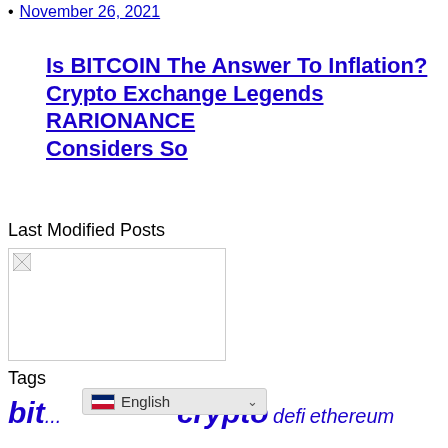November 26, 2021
Is BITCOIN The Answer To Inflation? Crypto Exchange Legends RARIONANCE Considers So
Last Modified Posts
[Figure (photo): Image placeholder (broken image icon) for Last Modified Posts section]
Tags
bit... crypto defi ethereum